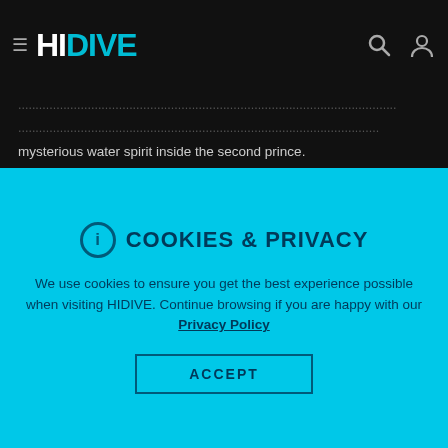HIDIVE
mysterious water spirit inside the second prince.
FACEBOOK   TWITTER
SEASON 1 | 26 EPISODES
[Figure (screenshot): Two anime episode thumbnails with play buttons]
COOKIES & PRIVACY
We use cookies to ensure you get the best experience possible when visiting HIDIVE. Continue browsing if you are happy with our Privacy Policy
ACCEPT